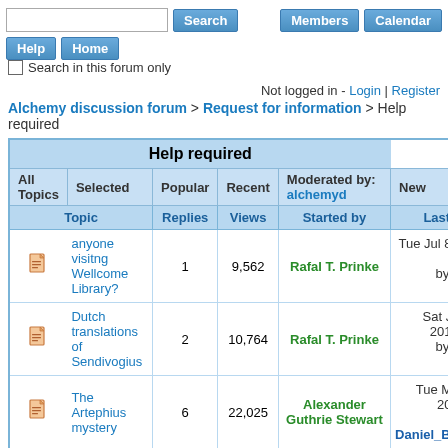Search | Members | Calendar | Help | Home
Search in this forum only
Not logged in - Login | Register
Alchemy discussion forum > Request for information > Help required
| Help required |  |  |  |  |  |
| --- | --- | --- | --- | --- | --- |
| All Topics | Selected | Popular | Recent | Moderated by: alchemyd | New |
| Topic | Replies | Views | Started by | Last Post ▲ |  |
| anyone visitng Wellcome Library? | 1 | 9,562 | Rafal T. Prinke | Tue Jul 8th, 2014 03:2... by Rafal T. Prinke |  |
| Dutch translations of Sendivogius | 2 | 10,764 | Rafal T. Prinke | Sat Jun 21st, 2014 08:2... by Rafal T. Prinke |  |
| The Artephius mystery | 6 | 22,025 | Alexander Guthrie Stewart | Tue May 27th, 2014 08:... by Daniel_Burnham |  |
| Philosophical stone origins project. Page: 1 2 | 23 | 97,552 | Daniel_Burnham | Thu May 22nd, 2014 09:... by Alexander Guthrie St... |  |
| 'Green Man' image in Fama Fraternitatis & della Porta | 30 | 50,539 | Paul Ferguson | Thu Apr 24th, 2014 09:0... by Paul Ferguson |  |